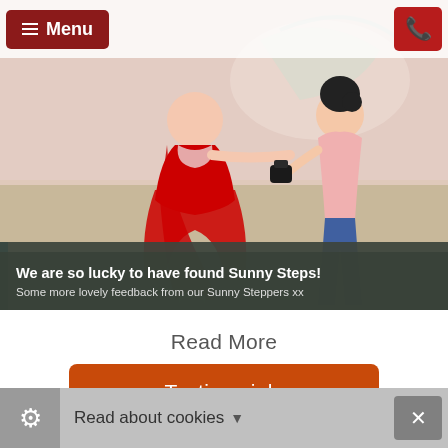[Figure (photo): Two young children dancing in a dance studio. One child wears a red dress, the other wears a pink top and blue jeans.]
We are so lucky to have found Sunny Steps! Some more lovely feedback from our Sunny Steppers xx
Read More
Testimonials
Read about cookies